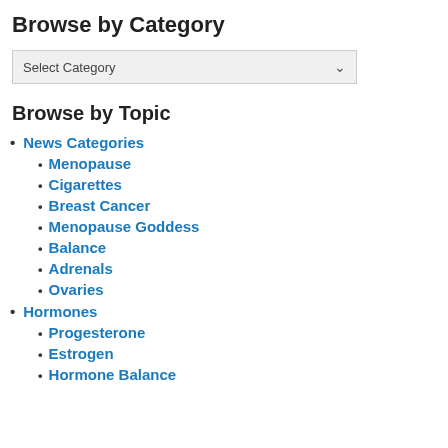Browse by Category
Select Category
Browse by Topic
News Categories
Menopause
Cigarettes
Breast Cancer
Menopause Goddess
Balance
Adrenals
Ovaries
Hormones
Progesterone
Estrogen
Hormone Balance